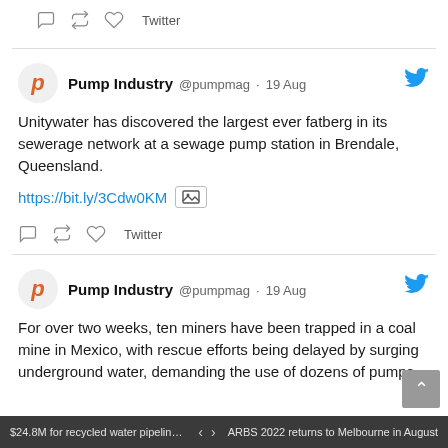[Figure (screenshot): Twitter/social media action bar with comment, retweet, like icons and 'Twitter' label]
Pump Industry @pumpmag · 19 Aug
Unitywater has discovered the largest ever fatberg in its sewerage network at a sewage pump station in Brendale, Queensland.
https://bit.ly/3Cdw0KM [image icon]
Pump Industry @pumpmag · 19 Aug
For over two weeks, ten miners have been trapped in a coal mine in Mexico, with rescue efforts being delayed by surging underground water, demanding the use of dozens of pumps.
$24.8M for recycled water pipeline in Me...   <  >   ARBS 2022 returns to Melbourne in August